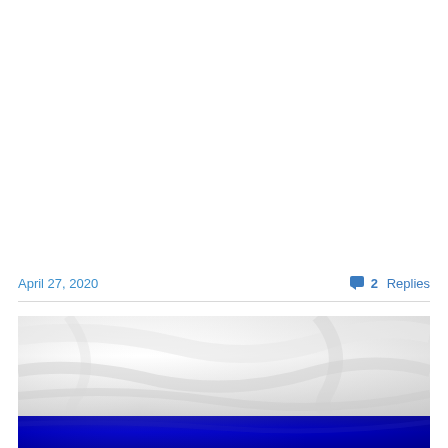April 27, 2020
2 Replies
[Figure (photo): A flag with white and blue horizontal stripes, showing silky fabric texture with folds and light reflections. The top portion is white/silver and the bottom strip is dark blue.]